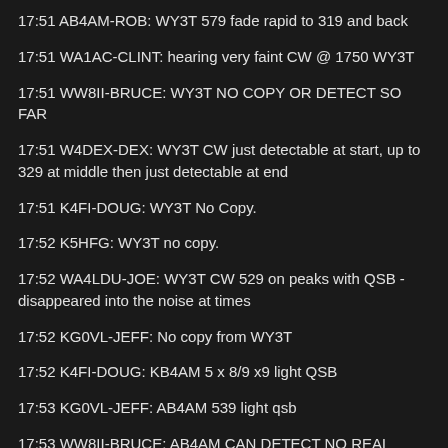17:51 AB4AM-ROB: WY3T 579 fade rapid to 319 and back
17:51 WA1AC-CLINT: hearing very faint CW @ 1750 WY3T
17:51 WW8II-BRUCE: WY3T NO COPY OR DETECT SO FAR
17:51 W4DEX-DEX: WY3T CW just detectable at start, up to 329 at middle then just detectable at end
17:51 K4FI-DOUG: WY3T No Copy.
17:52 K5HFG: WY3T no copy.
17:52 WA4LDU-JOE: WY3T CW 529 on peaks with QSB - disappeared into the noise at times
17:52 KG0VL-JEFF: No copy from WY3T
17:52 K4FI-DOUG: KB4AM 5 x 8/9 x9 light QSB
17:53 KG0VL-JEFF: AB4AM 539 light qsb
17:53 WW8II-BRUCE: AB4AM CAN DETECT NO REAL COPY
17:53 WW8II-BRUCE: AB4AM QSB NOW 51945 SEC INTO TRANSMISSION